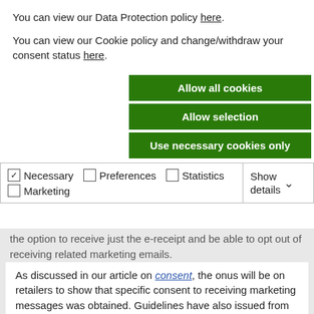You can view our Data Protection policy here.
You can view our Cookie policy and change/withdraw your consent status here.
Allow all cookies
Allow selection
Use necessary cookies only
Necessary  Preferences  Statistics  Marketing  Show details
the option to receive just the e-receipt and be able to opt out of receiving related marketing emails.
As discussed in our article on consent, the onus will be on retailers to show that specific consent to receiving marketing messages was obtained. Guidelines have also issued from the DPC stating that, where an email address is obtained in the context of a receipt, these details may only be used for direct marketing by email if: